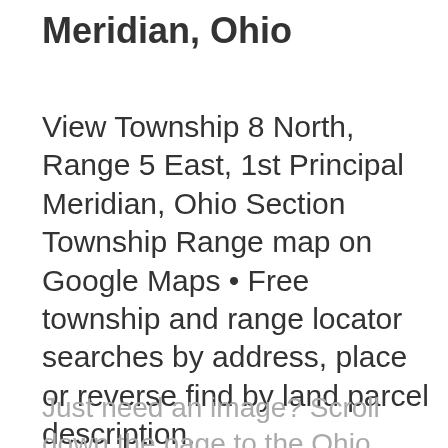Meridian, Ohio
View Township 8 North, Range 5 East, 1st Principal Meridian, Ohio Section Township Range map on Google Maps • Free township and range locator searches by address, place or reverse find by land parcel description.
Just need an image? Scroll down the page to the Ohio Section